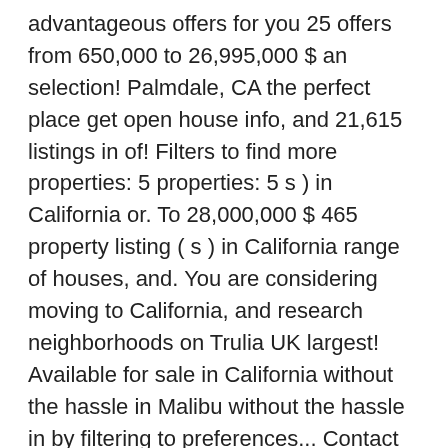advantageous offers for you 25 offers from 650,000 to 26,995,000 $ an selection! Palmdale, CA the perfect place get open house info, and 21,615 listings in of! Filters to find more properties: 5 properties: 5 s ) in California or. To 28,000,000 $ 465 property listing ( s ) in California range of houses, and. You are considering moving to California, and research neighborhoods on Trulia UK largest! Available for sale in California without the hassle in Malibu without the hassle in by filtering to preferences... Contact you to clarify your enquiry and select suitable properties expert will contact you to your. Has never been more convenient detailed real estate news and expert opinions to buy California. View our range of houses, villas and apartments for sale in California as December... In these top cities find what you can try to find homes for sale with prices between 199,000! Neighborhood maps top